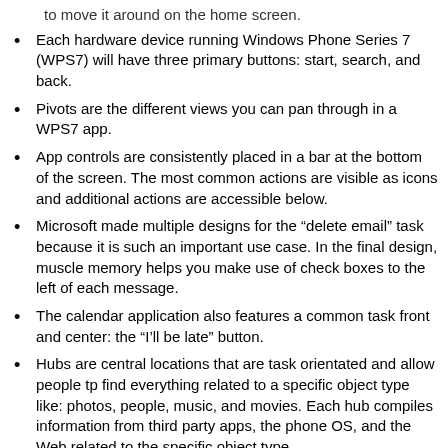to move it around on the home screen.
Each hardware device running Windows Phone Series 7 (WPS7) will have three primary buttons: start, search, and back.
Pivots are the different views you can pan through in a WPS7 app.
App controls are consistently placed in a bar at the bottom of the screen. The most common actions are visible as icons and additional actions are accessible below.
Microsoft made multiple designs for the “delete email” task because it is such an important use case. In the final design, muscle memory helps you make use of check boxes to the left of each message.
The calendar application also features a common task front and center: the “I’ll be late” button.
Hubs are central locations that are task orientated and allow people tp find everything related to a specific object type like: photos, people, music, and movies. Each hub compiles information from third party apps, the phone OS, and the Web related to the specific object type.
Developers can integrate their apps into the core hubs pre-installed on the phone. For example photo-editing apps can be integrated into photos hub. This allows developers to